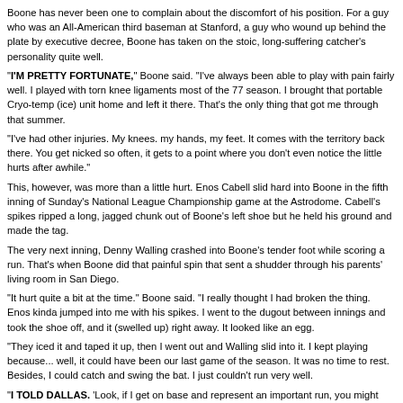Boone has never been one to complain about the discomfort of his position. For a guy who was an All-American third baseman at Stanford, a guy who wound up behind the plate by executive decree, Boone has taken on the stoic, long-suffering catcher's personality quite well.
"I'M PRETTY FORTUNATE," Boone said. "I've always been able to play with pain fairly well. I played with torn knee ligaments most of the 77 season. I brought that portable Cryo-temp (ice) unit home and left it there. That's the only thing that got me through that summer.
"I've had other injuries. My knees. my hands, my feet. It comes with the territory back there. You get nicked so often, it gets to a point where you don't even notice the little hurts after awhile."
This, however, was more than a little hurt. Enos Cabell slid hard into Boone in the fifth inning of Sunday's National League Championship game at the Astrodome. Cabell's spikes ripped a long, jagged chunk out of Boone's left shoe but he held his ground and made the tag.
The very next inning, Denny Walling crashed into Boone's tender foot while scoring a run. That's when Boone did that painful spin that sent a shudder through his parents' living room in San Diego.
"It hurt quite a bit at the time." Boone said. "I really thought I had broken the thing. Enos kinda jumped into me with his spikes. I went to the dugout between innings and took the shoe off, and it (swelled up) right away. It looked like an egg.
"They iced it and taped it up, then I went out and Walling slid into it. I kept playing because... well, it could have been our last game of the season. It was no time to rest. Besides, I could catch and swing the bat. I just couldn't run very well.
"I TOLD DALLAS. 'Look, if I get on base and represent an important run, you might want to send in a pinch-runner for me.' He said he would but he never did. I guess I didn't look any slower than I normally do.
"After the game, I got X-rays taken. I was at the team party a few hours later and Dr. (Phillip) Marone came in. He said the hospital messed up the X-rays. He said they missed half my foot (with the photographs). But he said the half they got looked pretty good.